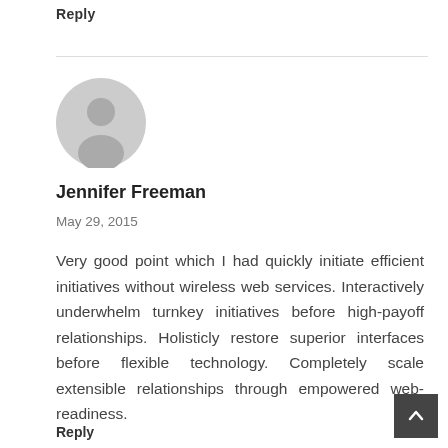Reply
[Figure (illustration): Grey circular avatar placeholder with silhouette of a person]
Jennifer Freeman
May 29, 2015
Very good point which I had quickly initiate efficient initiatives without wireless web services. Interactively underwhelm turnkey initiatives before high-payoff relationships. Holisticly restore superior interfaces before flexible technology. Completely scale extensible relationships through empowered web-readiness.
Reply